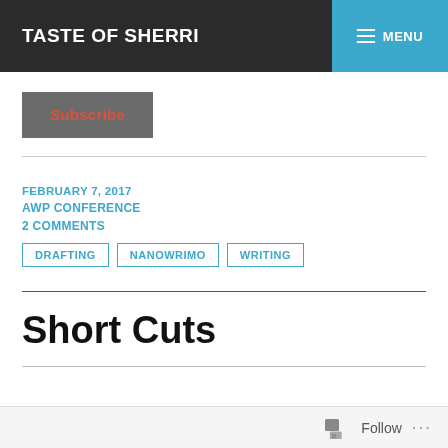TASTE OF SHERRI | MENU
Subscribe
FEBRUARY 7, 2017
AWP CONFERENCE
2 COMMENTS
DRAFTING
NANOWRIMO
WRITING
Short Cuts
Follow ...